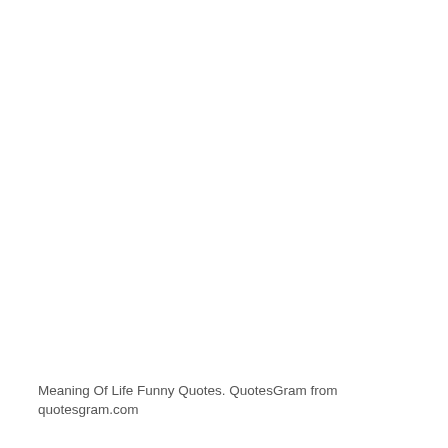Meaning Of Life Funny Quotes. QuotesGram from quotesgram.com